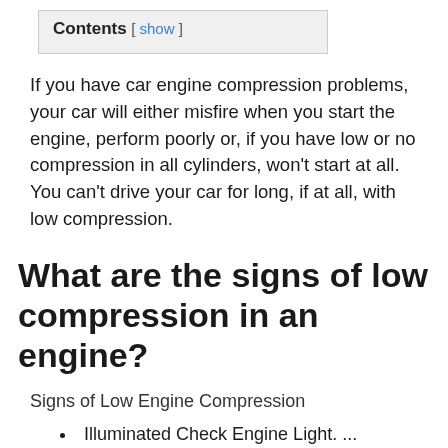| Contents | [ show ] |
| --- | --- |
If you have car engine compression problems, your car will either misfire when you start the engine, perform poorly or, if you have low or no compression in all cylinders, won't start at all. You can't drive your car for long, if at all, with low compression.
What are the signs of low compression in an engine?
Signs of Low Engine Compression
Illuminated Check Engine Light. ...